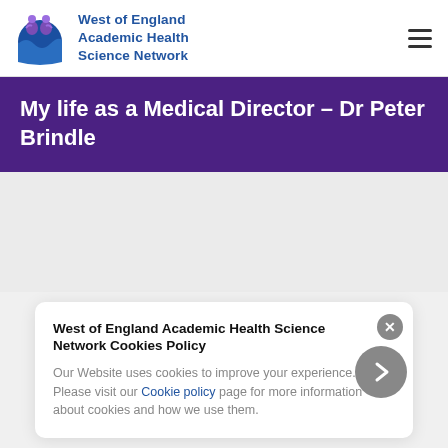West of England Academic Health Science Network
My life as a Medical Director – Dr Peter Brindle
West of England Academic Health Science Network Cookies Policy
Our Website uses cookies to improve your experience. Please visit our Cookie policy page for more information about cookies and how we use them.